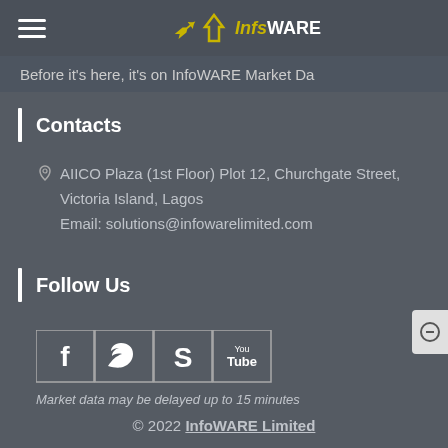InfoWARE
Before it's here, it's on InfoWARE Market Da
Contacts
AIICO Plaza (1st Floor) Plot 12, Churchgate Street, Victoria Island, Lagos
Email: solutions@infowarelimited.com
Follow Us
[Figure (other): Social media icons: Facebook, Twitter, Skype, YouTube]
Market data may be delayed up to 15 minutes
© 2022 InfoWARE Limited